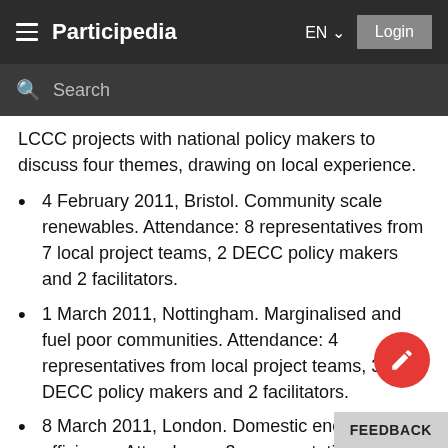Participedia  EN  Login
LCCC projects with national policy makers to discuss four themes, drawing on local experience.
4 February 2011, Bristol. Community scale renewables. Attendance: 8 representatives from 7 local project teams, 2 DECC policy makers and 2 facilitators.
1 March 2011, Nottingham. Marginalised and fuel poor communities. Attendance: 4 representatives from local project teams, 3 DECC policy makers and 2 facilitators.
8 March 2011, London. Domestic energy efficiency. Attendance: 3 representatives from local project teams, 5 DECC policy… facilitators.